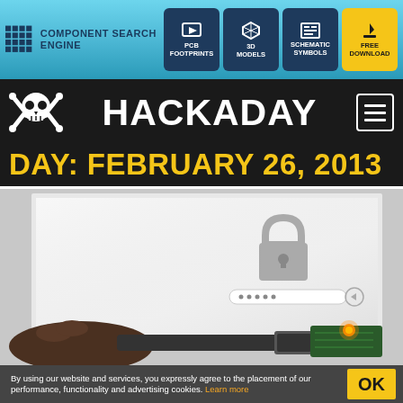COMPONENT SEARCH ENGINE
[Figure (screenshot): Navigation buttons: PCB Footprints, 3D Models, Schematic Symbols, Free Download]
HACKADAY
DAY: FEBRUARY 26, 2013
[Figure (photo): Photo of a hand holding a USB cable connected to a small circuit board with an orange LED, in front of a laptop screen showing a lock/password screen]
By using our website and services, you expressly agree to the placement of our performance, functionality and advertising cookies. Learn more